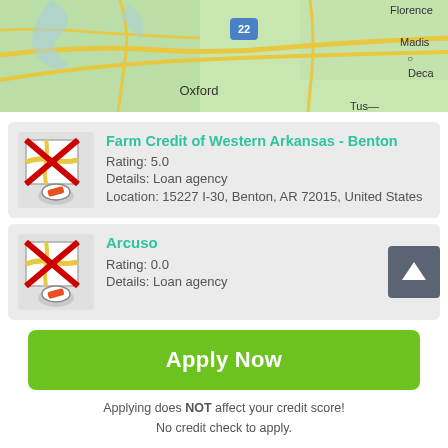[Figure (map): Google Maps view showing Oxford, Florence, Madison, Deca area with road 22 marked]
[Figure (illustration): Map pin icon with red X overlay for Farm Credit of Western Arkansas - Benton listing]
Farm Credit of Western Arkansas - Benton
Rating: 5.0
Details: Loan agency
Location: 15227 I-30, Benton, AR 72015, United States
[Figure (illustration): Map pin icon with red X overlay for Arcuso listing]
Arcuso
Rating: 0.0
Details: Loan agency
Apply Now
Applying does NOT affect your credit score!
No credit check to apply.